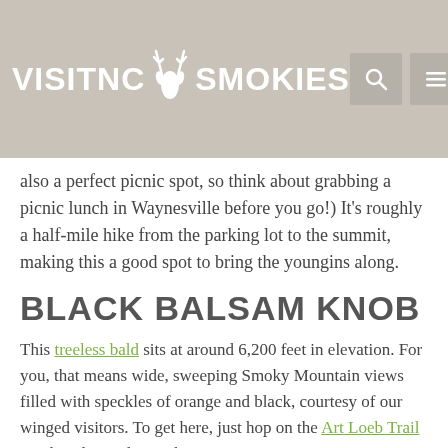VisitNC Smokies
also a perfect picnic spot, so think about grabbing a picnic lunch in Waynesville before you go!) It's roughly a half-mile hike from the parking lot to the summit, making this a good spot to bring the youngins along.
BLACK BALSAM KNOB
This treeless bald sits at around 6,200 feet in elevation. For you, that means wide, sweeping Smoky Mountain views filled with speckles of orange and black, courtesy of our winged visitors. To get here, just hop on the Art Loeb Trail via the Blue Ridge Parkway!
LAKE JUNALUSKA